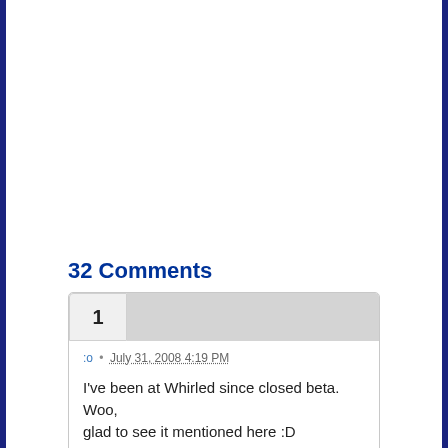32 Comments
:o • July 31, 2008 4:19 PM
I've been at Whirled since closed beta. Woo, glad to see it mentioned here :D
I was surprised to see a game of this quality